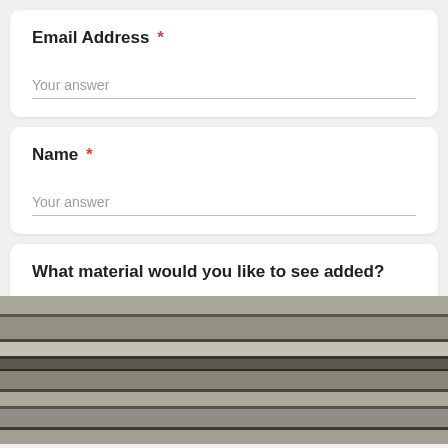Email Address *
Your answer
Name *
Your answer
What material would you like to see added?
[Figure (photo): Close-up photo of horizontal metal or fabric strips/blinds in shades of grey, silver, and beige]